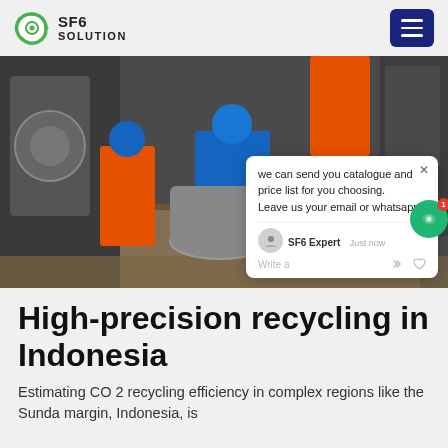SF6 SOLUTION
[Figure (photo): Workers in orange and blue safety suits and hard hats working on industrial equipment, likely SF6 gas handling machinery. A chat popup overlay is visible in the lower right of the image showing a message from SF6 Expert: 'we can send you catalogue and price list for you choosing. Leave us your email or whatsapp .']
High-precision recycling in Indonesia
Estimating CO 2 recycling efficiency in complex regions like the Sunda margin, Indonesia, is